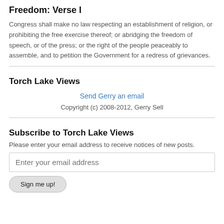Freedom: Verse I
Congress shall make no law respecting an establishment of religion, or prohibiting the free exercise thereof; or abridging the freedom of speech, or of the press; or the right of the people peaceably to assemble, and to petition the Government for a redress of grievances.
Torch Lake Views
Send Gerry an email
Copyright (c) 2008-2012, Gerry Sell
Subscribe to Torch Lake Views
Please enter your email address to receive notices of new posts.
Enter your email address
Sign me up!